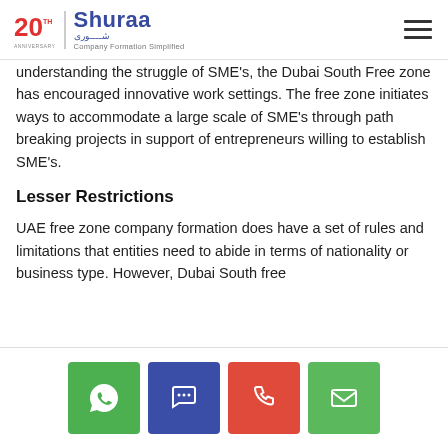Shuraa – Company Formation Simplified
understanding the struggle of SME's, the Dubai South Free zone has encouraged innovative work settings. The free zone initiates ways to accommodate a large scale of SME's through path breaking projects in support of entrepreneurs willing to establish SME's.
Lesser Restrictions
UAE free zone company formation does have a set of rules and limitations that entities need to abide in terms of nationality or business type. However, Dubai South free